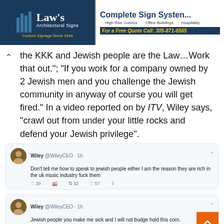[Figure (screenshot): Law's Architectural Signs banner advertisement and Complete Sign Systems ad]
the KKK and Jewish people are the Law…Work that out."; "If you work for a company owned by 2 Jewish men and you challenge the Jewish community in anyway of course you will get fired." In a video reported on by ITV, Wiley says, "crawl out from under your little rocks and defend your Jewish privilege".
[Figure (screenshot): Tweet by Wiley @WileyCEO · 1h: Don't tell me how to speak to jewish people either I am the reason they are rich in the uk music industry fuck them. Actions: 39 replies, 32 retweets, 57 likes.]
[Figure (screenshot): Tweet by Wiley @WileyCEO · 1h: Jewish people you make me sick and I will not budge hold this corn. Actions: 226 replies, 405 retweets, 186 likes.]
[Figure (screenshot): Wiley Retweeted. Kekman @Kekman02582759 · 1h. Replying to @Devongirl_64 @I_Luv_Jesus11 and 6 others. Please SHUT THE FUCK UP. Im so sick of fucking jews at this point]